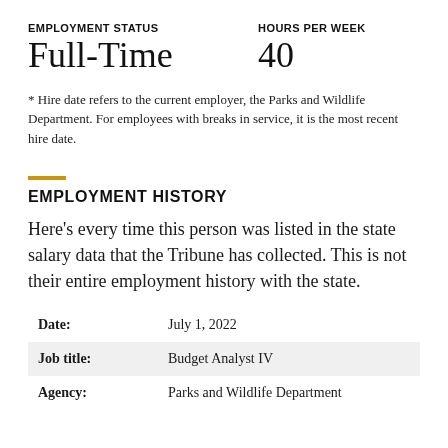EMPLOYMENT STATUS
HOURS PER WEEK
Full-Time
40
* Hire date refers to the current employer, the Parks and Wildlife Department. For employees with breaks in service, it is the most recent hire date.
EMPLOYMENT HISTORY
Here's every time this person was listed in the state salary data that the Tribune has collected. This is not their entire employment history with the state.
| Field | Value |
| --- | --- |
| Date: | July 1, 2022 |
| Job title: | Budget Analyst IV |
| Agency: | Parks and Wildlife Department |